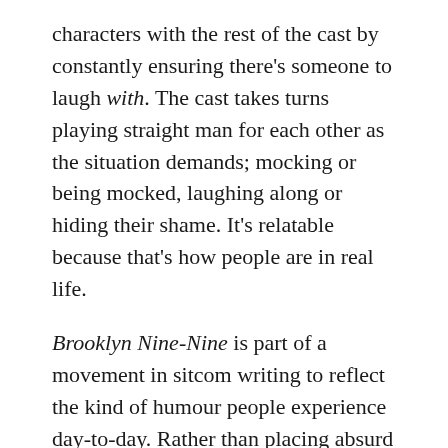characters with the rest of the cast by constantly ensuring there's someone to laugh with. The cast takes turns playing straight man for each other as the situation demands; mocking or being mocked, laughing along or hiding their shame. It's relatable because that's how people are in real life.

Brooklyn Nine-Nine is part of a movement in sitcom writing to reflect the kind of humour people experience day-to-day. Rather than placing absurd caricatures in front of you and inviting you to laugh mercilessly at their failures (Two And a Half Men), Brooklyn Nine-Nine follows the formula successfully deployed by how i met your mother of allowing its characters to know exactly how funny the things that are happening are. And it mines that area mercilessly for extra yucks as Samberg or